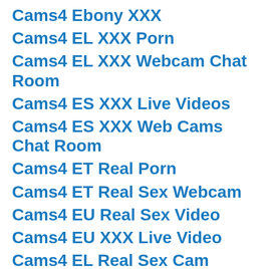Cams4 Ebony XXX
Cams4 EL XXX Porn
Cams4 EL XXX Webcam Chat Room
Cams4 ES XXX Live Videos
Cams4 ES XXX Web Cams Chat Room
Cams4 ET Real Porn
Cams4 ET Real Sex Webcam
Cams4 EU Real Sex Video
Cams4 EU XXX Live Video
Cams4 EL Real Sex Cam